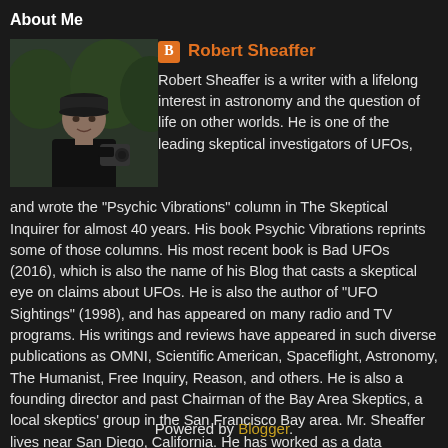About Me
[Figure (photo): Photo of Robert Sheaffer, a man wearing a dark cap, outdoors, holding camera equipment]
Robert Sheaffer
Robert Sheaffer is a writer with a lifelong interest in astronomy and the question of life on other worlds. He is one of the leading skeptical investigators of UFOs, and wrote the "Psychic Vibrations" column in The Skeptical Inquirer for almost 40 years. His book Psychic Vibrations reprints some of those columns. His most recent book is Bad UFOs (2016), which is also the name of his Blog that casts a skeptical eye on claims about UFOs. He is also the author of "UFO Sightings" (1998), and has appeared on many radio and TV programs. His writings and reviews have appeared in such diverse publications as OMNI, Scientific American, Spaceflight, Astronomy, The Humanist, Free Inquiry, Reason, and others. He is also a founding director and past Chairman of the Bay Area Skeptics, a local skeptics' group in the San Francisco Bay area. Mr. Sheaffer lives near San Diego, California. He has worked as a data communications engineer in the Silicon Valley, and sings in professional opera productions.
View my complete profile
Powered by Blogger.